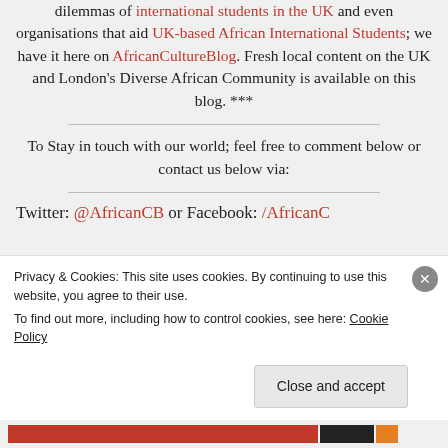dilemmas of international students in the UK and even organisations that aid UK-based African International Students; we have it here on AfricanCultureBlog. Fresh local content on the UK and London's Diverse African Community is available on this blog. ***
To Stay in touch with our world; feel free to comment below or contact us below via:
Twitter: @AfricanCB or Facebook: /AfricanC
Privacy & Cookies: This site uses cookies. By continuing to use this website, you agree to their use. To find out more, including how to control cookies, see here: Cookie Policy